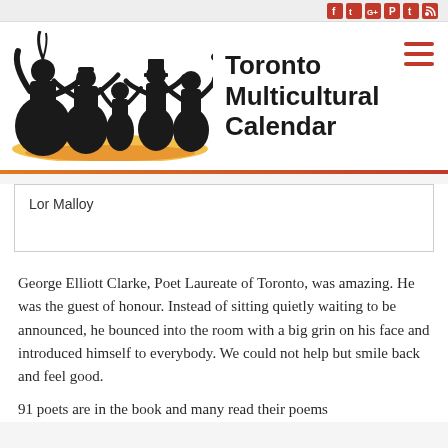[social icons: Facebook, Twitter, Google+, Pinterest, Tumblr, RSS]
[Figure (logo): Toronto Multicultural Calendar logo: silhouettes of multicultural dancers on an orange/yellow ground, with hamburger menu icon top-right]
Toronto Multicultural Calendar
Lor Malloy
George Elliott Clarke, Poet Laureate of Toronto, was amazing. He was the guest of honour. Instead of sitting quietly waiting to be announced, he bounced into the room with a big grin on his face and introduced himself to everybody. We could not help but smile back and feel good.
91 poets are in the book and many read their poems